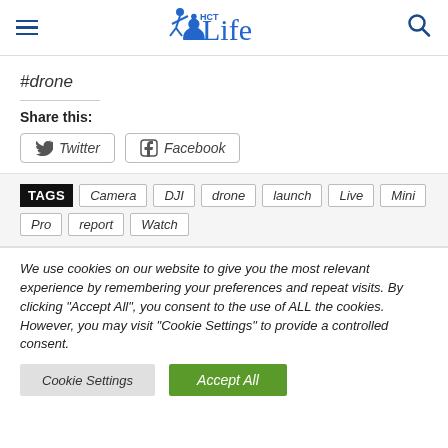HCT Life
#drone
Share this:
Twitter  Facebook
TAGS  Camera  DJI  drone  launch  Live  Mini  Pro  report  Watch
We use cookies on our website to give you the most relevant experience by remembering your preferences and repeat visits. By clicking "Accept All", you consent to the use of ALL the cookies. However, you may visit "Cookie Settings" to provide a controlled consent.
Cookie Settings  Accept All